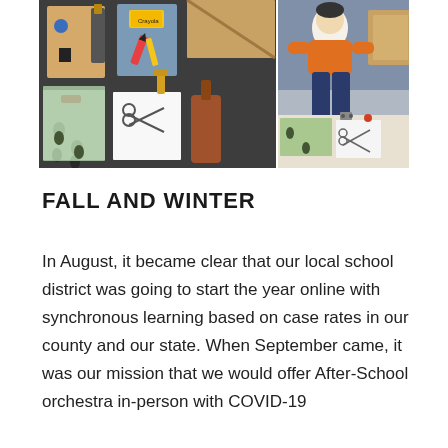[Figure (photo): Two side-by-side photos: left photo shows craft supplies and materials laid out on a dark surface including paper, crayons, scissors, and small objects; right photo shows a child in an orange sweater sitting on the floor surrounded by similar craft materials and papers.]
FALL AND WINTER
In August, it became clear that our local school district was going to start the year online with synchronous learning based on case rates in our county and our state. When September came, it was our mission that we would offer After-School orchestra in-person with COVID-19